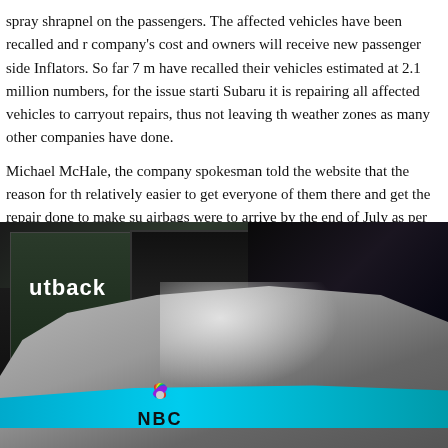spray shrapnel on the passengers. The affected vehicles have been recalled and repaired at the company's cost and owners will receive new passenger side Inflators. So far 7 manufacturers have recalled their vehicles estimated at 2.1 million numbers, for the issue starting 2008. For Subaru it is repairing all affected vehicles to carryout repairs, thus not leaving the high humidity weather zones as many other companies have done.
Michael McHale, the company spokesman told the website that the reason for this it was relatively easier to get everyone of them there and get the repair done to make sure. The new airbags were to arrive by the end of July as per his statement and for full details this info is available on the internet.
[Figure (photo): Photo of a silver Subaru rally/show car with NBC logo and cyan/teal stripe, displayed at an auto show with 'Outback' signage and screens in the background.]